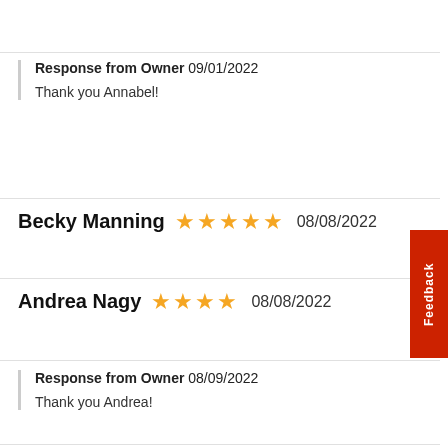Response from Owner 09/01/2022
Thank you Annabel!
Becky Manning ★★★★★ 08/08/2022
Andrea Nagy ★★★★ 08/08/2022
Response from Owner 08/09/2022
Thank you Andrea!